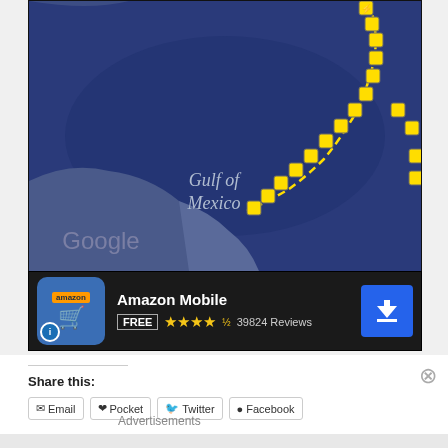[Figure (screenshot): Google Maps screenshot showing the Gulf of Mexico with a hurricane track marked by yellow dashed line with cyclone icons from the Caribbean toward the Gulf]
[Figure (screenshot): Amazon Mobile app advertisement banner: app icon with shopping cart, title 'Amazon Mobile', FREE label, 4.5 star rating, 39824 Reviews, blue download button]
Share this:
Email
Pocket
Twitter
Facebook
Advertisements